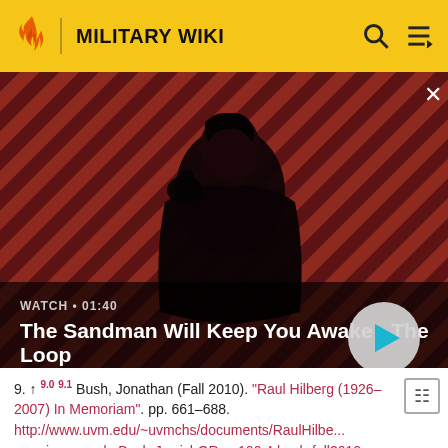MILITARY WIKI
[Figure (screenshot): Video thumbnail for 'The Sandman Will Keep You Awake - The Loop' showing a dark-cloaked figure with a raven on shoulder against a red and dark diagonal striped background. WATCH • 01:40 label and play button visible.]
9. ↑ 9.0 9.1 Bush, Jonathan (Fall 2010). "Raul Hilberg (1926–2007) In Memoriam". pp. 661–688. http://www.uvm.edu/~uvmchs/documents/RaulHilberg-reviewessaybyBush-JewishQRev-100.4.bush-fall2010-pp661-88.pdf. Retrieved 31 March 2012.